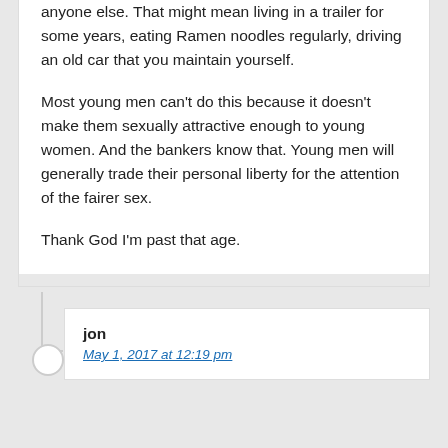anyone else. That might mean living in a trailer for some years, eating Ramen noodles regularly, driving an old car that you maintain yourself.

Most young men can't do this because it doesn't make them sexually attractive enough to young women. And the bankers know that. Young men will generally trade their personal liberty for the attention of the fairer sex.

Thank God I'm past that age.
jon
May 1, 2017 at 12:19 pm